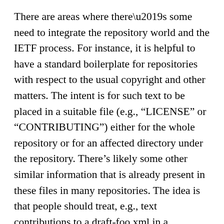There are areas where there’s some need to integrate the repository world and the IETF process. For instance, it is helpful to have a standard boilerplate for repositories with respect to the usual copyright and other matters. The intent is for such text to be placed in a suitable file (e.g., “LICENSE” or “CONTRIBUTING”) either for the whole repository or for an affected directory under the repository. There’s likely some other similar information that is already present in these files in many repositories. The idea is that people should treat, e.g., text contributions to a draft-foo.xml in a repository much in the same way as they treat text